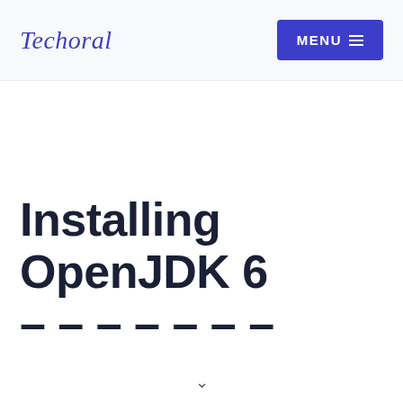Techoral  MENU
Installing OpenJDK 6